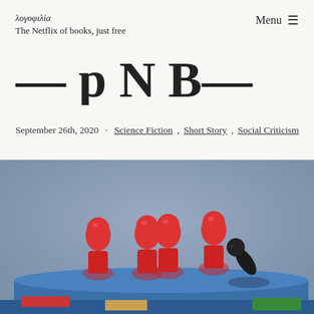λογοφιλία
The Netflix of books, just free
— p N B—
September 26th, 2020 · Science Fiction, Short Story, Social Criticism
[Figure (photo): Photo of red wooden board game pawns standing upright on a blue platform, with a black pawn knocked over on its side among them. Colorful wooden blocks visible in the background.]